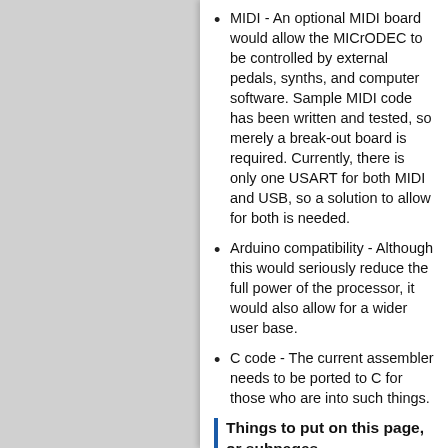MIDI - An optional MIDI board would allow the MICrODEC to be controlled by external pedals, synths, and computer software. Sample MIDI code has been written and tested, so merely a break-out board is required. Currently, there is only one USART for both MIDI and USB, so a solution to allow for both is needed.
Arduino compatibility - Although this would seriously reduce the full power of the processor, it would also allow for a wider user base.
C code - The current assembler needs to be ported to C for those who are into such things.
Things to put on this page, or subpages
information about the